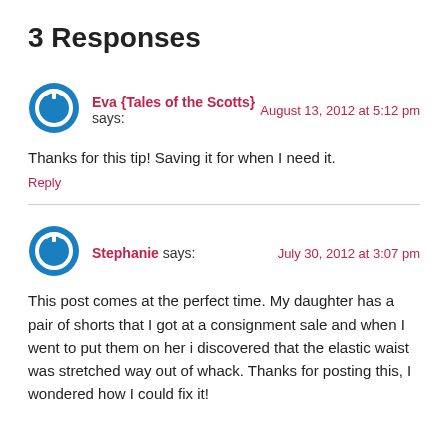3 Responses
Eva {Tales of the Scotts} says:   August 13, 2012 at 5:12 pm
Thanks for this tip! Saving it for when I need it.
Reply
Stephanie says:   July 30, 2012 at 3:07 pm
This post comes at the perfect time. My daughter has a pair of shorts that I got at a consignment sale and when I went to put them on her i discovered that the elastic waist was stretched way out of whack. Thanks for posting this, I wondered how I could fix it!